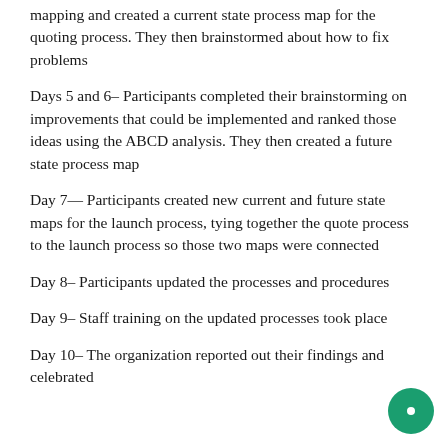mapping and created a current state process map for the quoting process. They then brainstormed about how to fix problems
Days 5 and 6– Participants completed their brainstorming on improvements that could be implemented and ranked those ideas using the ABCD analysis. They then created a future state process map
Day 7— Participants created new current and future state maps for the launch process, tying together the quote process to the launch process so those two maps were connected
Day 8– Participants updated the processes and procedures
Day 9– Staff training on the updated processes took place
Day 10– The organization reported out their findings and celebrated